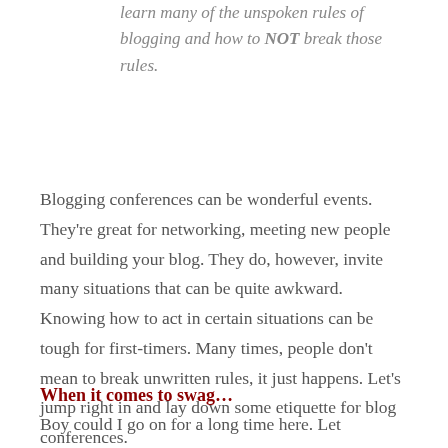learn many of the unspoken rules of blogging and how to NOT break those rules.
Blogging conferences can be wonderful events. They're great for networking, meeting new people and building your blog. They do, however, invite many situations that can be quite awkward. Knowing how to act in certain situations can be tough for first-timers. Many times, people don't mean to break unwritten rules, it just happens. Let's jump right in and lay down some etiquette for blog conferences.
When it comes to swag…
Boy could I go on for a long time here. Let